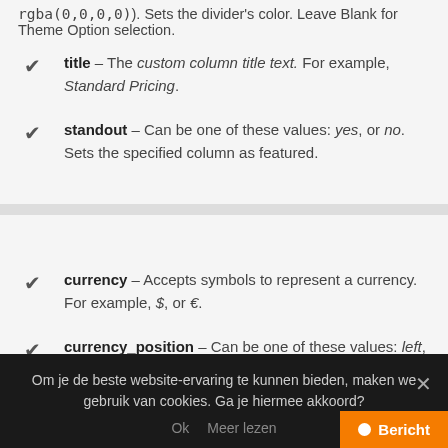rgba(0,0,0,0)). Sets the divider's color. Leave Blank for Theme Option selection.
title – The custom column title text. For example, Standard Pricing.
standout – Can be one of these values: yes, or no. Sets the specified column as featured.
currency – Accepts symbols to represent a currency. For example, $, or €.
currency_position – Can be one of these values: left, or right. Sets the position of the currency symbol.
Om je de beste website-ervaring te kunnen bieden, maken we gebruik van cookies. Ga je hiermee akkoord?